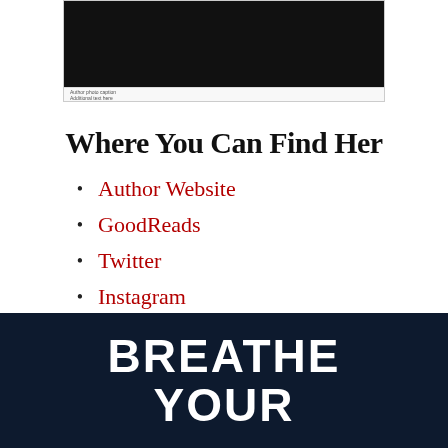[Figure (photo): Cropped author photo showing person in black clothing against dark background, with small caption text below]
Where You Can Find Her
Author Website
GoodReads
Twitter
Instagram
Facebook
[Figure (other): Dark navy banner with large white bold text reading BREATHE YOUR]